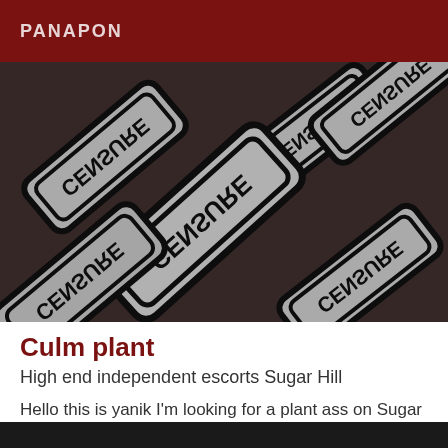PANAPON
[Figure (photo): Multiple overlapping signs with the word CENSURE printed in bold letters, shown at various angles against a dark background. The signs have rounded rectangular borders with black outlines on grey/white backgrounds.]
Culm plant
High end independent escorts Sugar Hill
Hello this is yanik I'm looking for a plant ass on Sugar Hill you are interested send me an email.